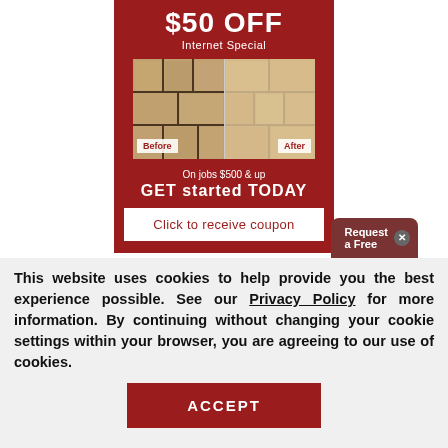[Figure (illustration): Red promotional banner showing '$50 OFF Internet Special' with a before/after tile cleaning image, text 'On jobs $500 & up GET started TODAY', and a 'Click to receive coupon' button]
Request a Free
This website uses cookies to help provide you the best experience possible. See our Privacy Policy for more information. By continuing without changing your cookie settings within your browser, you are agreeing to our use of cookies.
ACCEPT